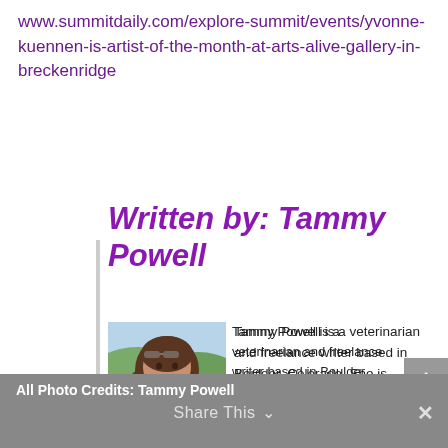www.summitdaily.com/explore-summit/events/yvonne-kuennen-is-artist-of-the-month-at-arts-alive-gallery-in-breckenridge
Written by: Tammy Powell
[Figure (photo): Portrait photo of Tammy Powell, a woman with long brown hair wearing a pink/magenta top, photographed outdoors with green hills in the background.]
Tammy Powell is a veterinarian and freelance writer based in Boulder, Colorado. She is enthusiastic about traveling, reading, meditating, and ballroom dancing. She maintains a blog of her travels and life lessons at:
www.mapsandmeditations.com
All Photo Credits: Tammy Powell
Share This